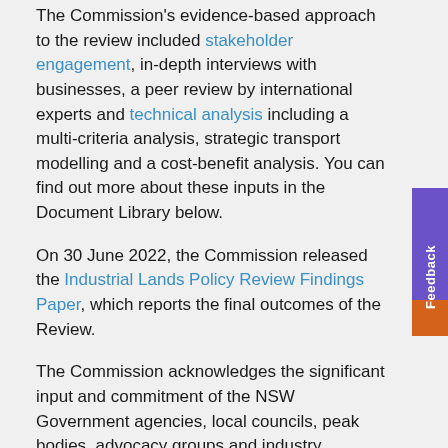The Commission's evidence-based approach to the review included stakeholder engagement, in-depth interviews with businesses, a peer review by international experts and technical analysis including a multi-criteria analysis, strategic transport modelling and a cost-benefit analysis. You can find out more about these inputs in the Document Library below.
On 30 June 2022, the Commission released the Industrial Lands Policy Review Findings Paper, which reports the final outcomes of the Review.
The Commission acknowledges the significant input and commitment of the NSW Government agencies, local councils, peak bodies, advocacy groups and industry representatives who contributed to the Review.
Review outcomes
The Review found that the Policy has been successful in providing certainty and a clear market signal for councils and landowners to invest in industrial developments, while